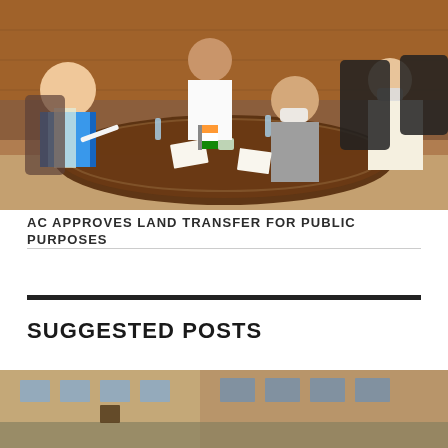[Figure (photo): Government officials sitting around a meeting table reviewing documents, one person in blue vest on the left, others in formal attire with masks, wooden paneled room with water bottles on the table.]
AC APPROVES LAND TRANSFER FOR PUBLIC PURPOSES
SUGGESTED POSTS
[Figure (photo): Partially visible photo at the bottom of the page, appears to show a building or indoor scene.]